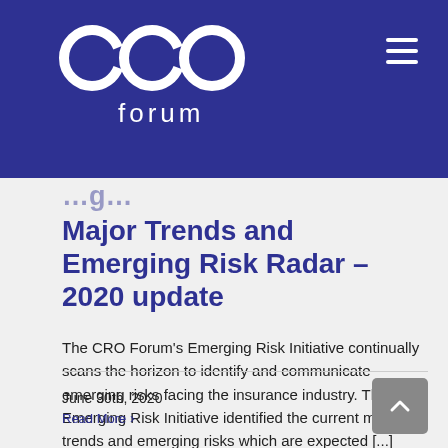[Figure (logo): CRO Forum logo — white circular letters 'cro' with 'forum' text below, on dark blue background, with hamburger menu icon top right]
Major Trends and Emerging Risk Radar – 2020 update
The CRO Forum's Emerging Risk Initiative continually scans the horizon to identify and communicate emerging risks facing the insurance industry. The Emerging Risk Initiative identified the current major trends and emerging risks which are expected [...]
June 30th, 2020
Read More ›